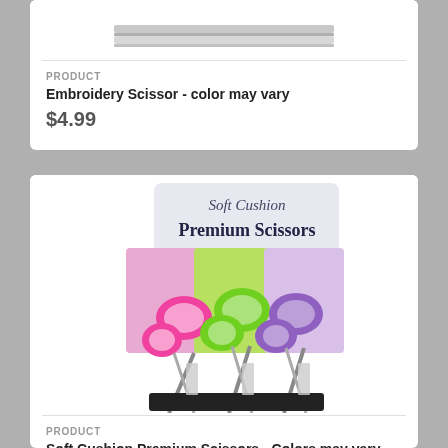[Figure (photo): Partial view of an embroidery scissor product on white card background, top of page]
PRODUCT
Embroidery Scissor - color may vary
$4.99
[Figure (photo): Three soft cushion premium scissors in pink, green, and purple colors displayed in a black stand, with a card reading 'Soft Cushion Premium Scissors']
PRODUCT
Soft Cushion Premium Scissors - Colors may vary
$4.99